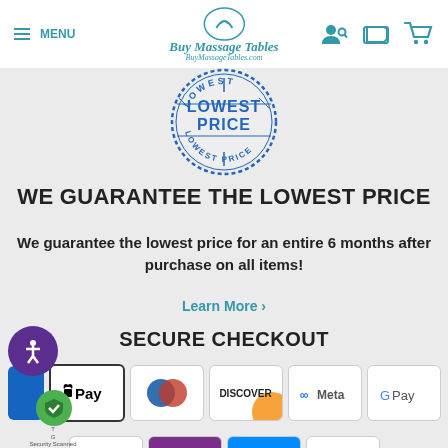[Figure (logo): Buy Massage Tables logo with circular icon and italic teal text, BuyMassageTables.com]
[Figure (illustration): Circular stamp badge in blue reading LOWEST PRICE]
WE GUARANTEE THE LOWEST PRICE
We guarantee the lowest price for an entire 6 months after purchase on all items!
Learn More >
SECURE CHECKOUT
[Figure (other): Row of payment method icons: Apple Pay, Diners Club, Discover, Meta Pay, Google Pay, and partial Visa/others]